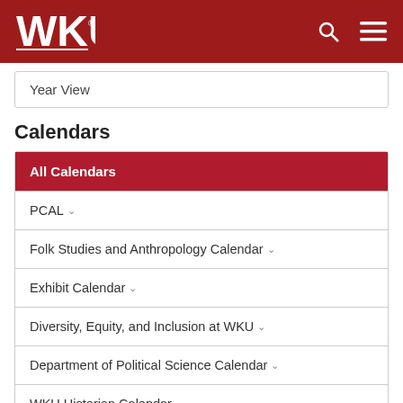WKU
Year View
Calendars
All Calendars
PCAL
Folk Studies and Anthropology Calendar
Exhibit Calendar
Diversity, Equity, and Inclusion at WKU
Department of Political Science Calendar
WKU Historian Calendar
WKU Registration Guide Calendar